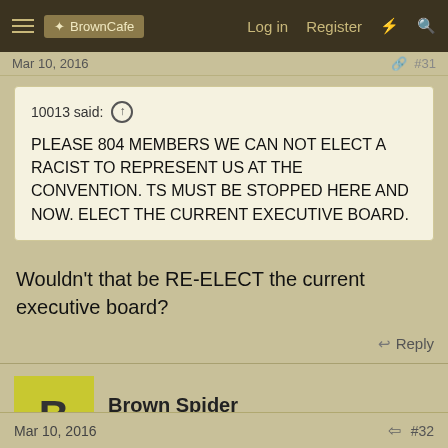BrownCafe  Log in  Register
Mar 10, 2016   #31
10013 said: ↑  PLEASE 804 MEMBERS WE CAN NOT ELECT A RACIST TO REPRESENT US AT THE CONVENTION. TS MUST BE STOPPED HERE AND NOW. ELECT THE CURRENT EXECUTIVE BOARD.
Wouldn't that be RE-ELECT the current executive board?
Reply
Brown Spider
Well-Known Member
Mar 10, 2016   #32